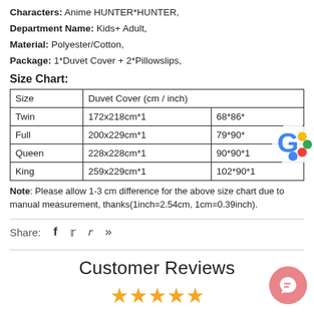Characters: Anime HUNTER*HUNTER,
Department Name: Kids+ Adult,
Material: Polyester/Cotton,
Package: 1*Duvet Cover + 2*Pillowslips,
Size Chart:
| Size | Duvet Cover (cm / inch) |  |
| --- | --- | --- |
| Twin | 172x218cm*1 | 68*86* |
| Full | 200x229cm*1 | 79*90* |
| Queen | 228x228cm*1 | 90*90*1 |
| King | 259x229cm*1 | 102*90*1 |
Note: Please allow 1-3 cm difference for the above size chart due to manual measurement, thanks(1inch=2.54cm, 1cm=0.39inch).
Share:
Customer Reviews
[Figure (other): Five gold star rating icons]